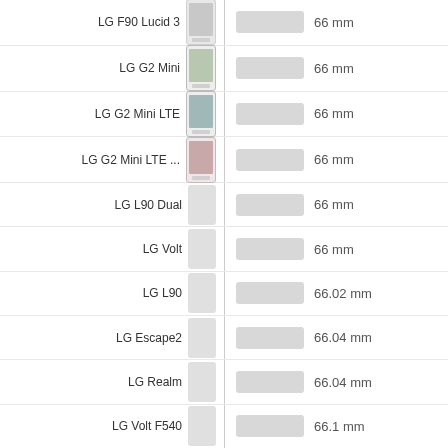| Device | Width Bar | Width |
| --- | --- | --- |
| LG F90 Lucid 3 |  | 66 mm |
| LG G2 Mini |  | 66 mm |
| LG G2 Mini LTE |  | 66 mm |
| LG G2 Mini LTE ... |  | 66 mm |
| LG L90 Dual |  | 66 mm |
| LG Volt |  | 66 mm |
| LG L90 |  | 66.02 mm |
| LG Escape2 |  | 66.04 mm |
| LG Realm |  | 66.04 mm |
| LG Volt F540 |  | 66.1 mm |